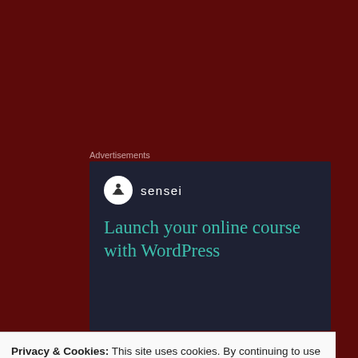Advertisements
[Figure (screenshot): Sensei advertisement: dark navy background with Sensei logo (tree icon in white circle) and brand name 'sensei', with teal headline text 'Launch your online course with WordPress']
There is also a seven point men's shootout to be played in case of a tied sc... There is sixty second coaches time-out, there will be power-points which w... double, and there are lots of other things. Yes, it has me somewhat confuse...
Privacy & Cookies: This site uses cookies. By continuing to use this website, you agree to their use.
To find out more, including how to control cookies, see here: Cookie Policy
Close and accept